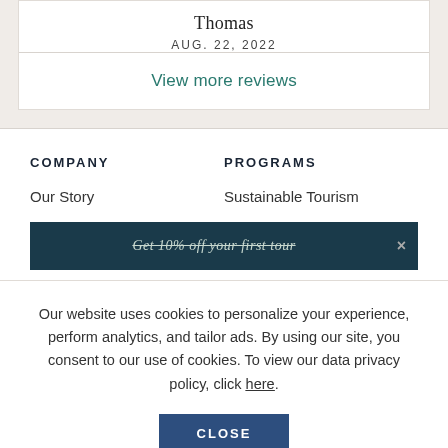Thomas
AUG. 22, 2022
View more reviews
COMPANY
PROGRAMS
Our Story
Sustainable Tourism
Get 10% off your first tour
Our website uses cookies to personalize your experience, perform analytics, and tailor ads. By using our site, you consent to our use of cookies. To view our data privacy policy, click here.
CLOSE